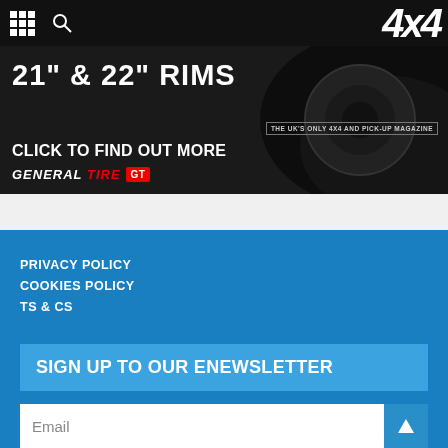[Figure (screenshot): Website screenshot showing a 4x4 magazine page with navigation bar, General Tire advertisement banner, blue footer with navigation links, newsletter signup section, and email input field.]
21" & 22" RIMS
CLICK TO FIND OUT MORE
GENERAL TIRE GT
THE UK'S ONLY 4X4 AND PICK-UP MAGAZINE
PRIVACY POLICY
COOKIES POLICY
TS & CS
SIGN UP TO OUR eNEWSLETTER
Email